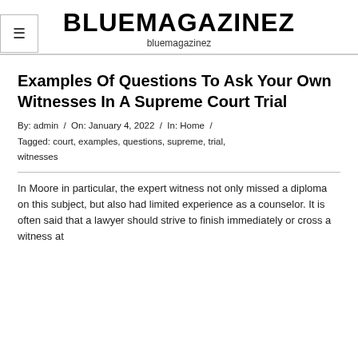BLUEMAGAZINEZ
bluemagazinez
Examples Of Questions To Ask Your Own Witnesses In A Supreme Court Trial
By: admin / On: January 4, 2022 / In: Home / Tagged: court, examples, questions, supreme, trial, witnesses
In Moore in particular, the expert witness not only missed a diploma on this subject, but also had limited experience as a counselor. It is often said that a lawyer should strive to finish immediately or cross a witness at